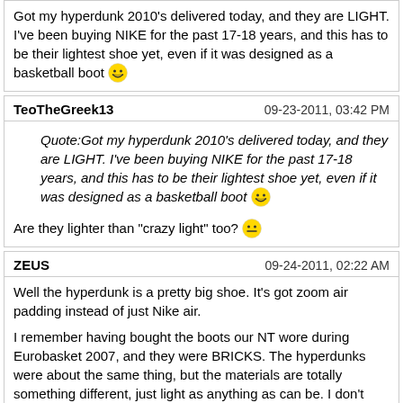Got my hyperdunk 2010's delivered today, and they are LIGHT. I've been buying NIKE for the past 17-18 years, and this has to be their lightest shoe yet, even if it was designed as a basketball boot 😄
TeoTheGreek13 — 09-23-2011, 03:42 PM
Quote: Got my hyperdunk 2010's delivered today, and they are LIGHT. I've been buying NIKE for the past 17-18 years, and this has to be their lightest shoe yet, even if it was designed as a basketball boot 😄
Are they lighter than "crazy light" too? 😐
ZEUS — 09-24-2011, 02:22 AM
Well the hyperdunk is a pretty big shoe. It's got zoom air padding instead of just Nike air.

I remember having bought the boots our NT wore during Eurobasket 2007, and they were BRICKS. The hyperdunks were about the same thing, but the materials are totally something different, just light as anything as can be. I don't know of which crazy lights you're talking about Teo, I've never worn 'em so I can't say. I test drived the shoes today in an indoor court, and they were SUPERB, great stability, minimal weight, allowed for great side-to-side movement without